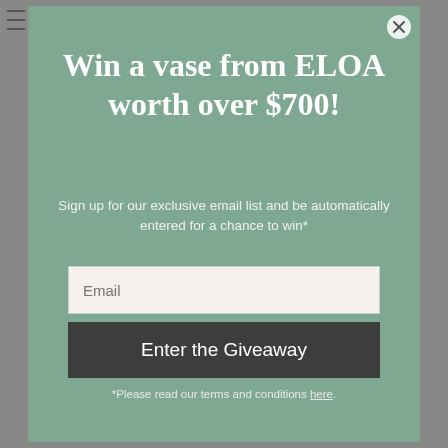Win a vase from ELOA worth over $700!
Sign up for our exclusive email list and be automatically entered for a chance to win*
Email
Enter the Giveaway
*Please read our terms and conditions here.